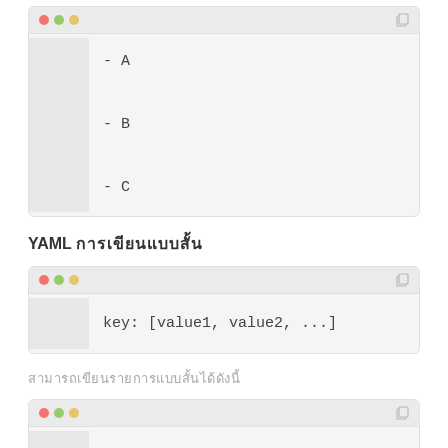[Figure (screenshot): Code block showing a YAML list with items - A, - B, - C with line numbers]
YAML การเขียนแบบสั้น
[Figure (screenshot): Code block showing: key: [value1, value2, ...]]
สามารถเขียนรายการแบบสั้นได้ดังนี้
[Figure (screenshot): Code block showing a YAML nested list starting with - and - A]